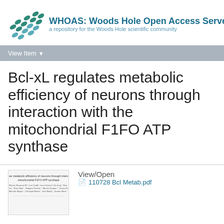[Figure (logo): WHOAS: Woods Hole Open Access Server logo with teal leaf/seed pattern and text]
View Item
Bcl-xL regulates metabolic efficiency of neurons through interaction with the mitochondrial F1FO ATP synthase
[Figure (screenshot): Thumbnail preview of PDF document showing article title and authors]
View/Open
110728 Bcl Metab.pdf